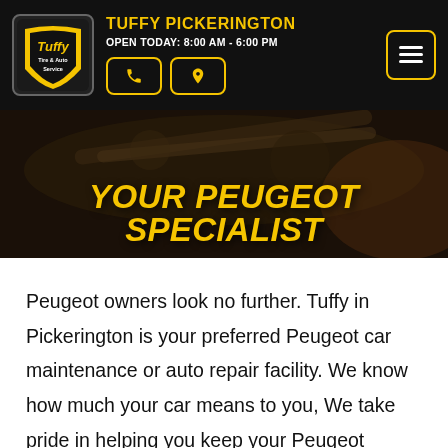TUFFY PICKERINGTON
OPEN TODAY: 8:00 AM - 6:00 PM
[Figure (logo): Tuffy Tire & Auto Service logo in yellow and black]
YOUR PEUGEOT SPECIALIST
Peugeot owners look no further. Tuffy in Pickerington is your preferred Peugeot car maintenance or auto repair facility. We know how much your car means to you, We take pride in helping you keep your Peugeot running trouble free